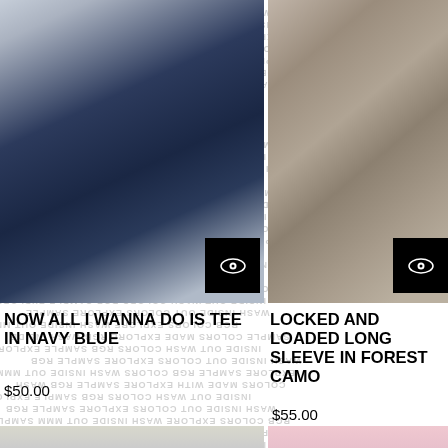[Figure (photo): Product photo of navy blue tee shirt, blurred/dark navy background]
NOW ALL I WANNA DO IS TEE IN NAVY BLUE
$50.00
[Figure (photo): Product photo of forest camo long sleeve, blurred brown/tan camo background]
LOCKED AND LOADED LONG SLEEVE IN FOREST CAMO
$55.00
[Figure (photo): Bottom left product photo, light/yellow-green tones, sold out]
[Figure (photo): Bottom right product photo, pink tones, sold out]